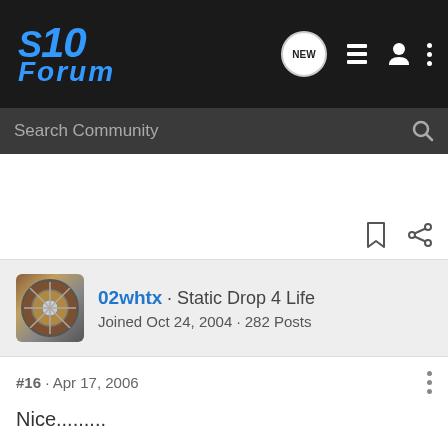S10 Forum
Search Community
02whtx · Static Drop 4 Life
Joined Oct 24, 2004 · 282 Posts
#16 · Apr 17, 2006
Nice.........